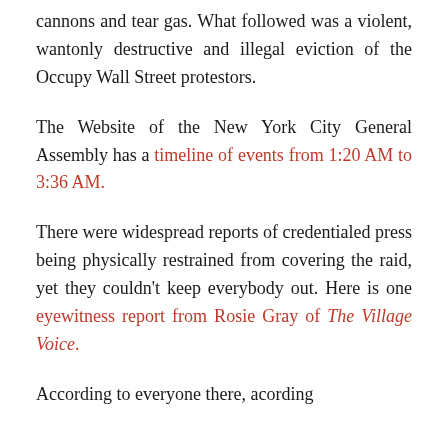cannons and tear gas. What followed was a violent, wantonly destructive and illegal eviction of the Occupy Wall Street protestors.
The Website of the New York City General Assembly has a timeline of events from 1:20 AM to 3:36 AM.
There were widespread reports of credentialed press being physically restrained from covering the raid, yet they couldn't keep everybody out. Here is one eyewitness report from Rosie Gray of The Village Voice.
According to...